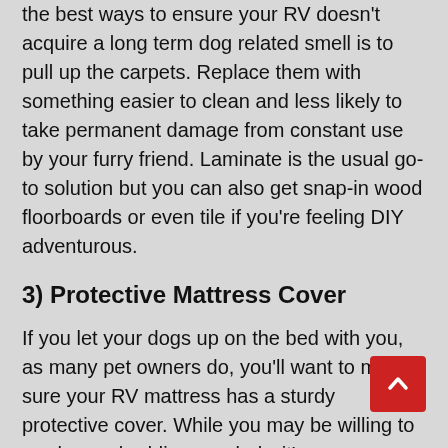the best ways to ensure your RV doesn't acquire a long term dog related smell is to pull up the carpets. Replace them with something easier to clean and less likely to take permanent damage from constant use by your furry friend. Laminate is the usual go-to solution but you can also get snap-in wood floorboards or even tile if you're feeling DIY adventurous.
3) Protective Mattress Cover
If you let your dogs up on the bed with you, as many pet owners do, you'll want to make sure your RV mattress has a sturdy protective cover. While you may be willing to wash your bedding regularly, it's very important that your mattress not be permeable to either moisture or fleas that your dog might accidentally bring in from a hike. This will help your mattress last a lot longer and help you not worry about the consequences of your furry companion jumping up and sleeping on your bed.